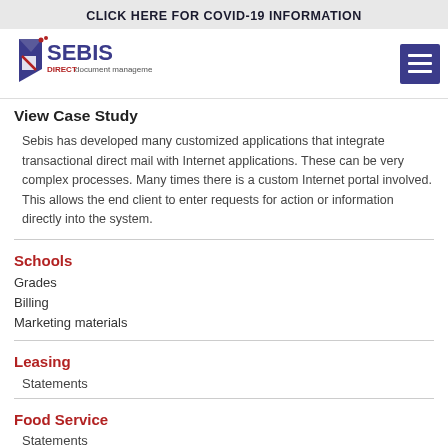CLICK HERE FOR COVID-19 INFORMATION
[Figure (logo): SEBIS DIRECT document management logo]
View Case Study
Sebis has developed many customized applications that integrate transactional direct mail with Internet applications. These can be very complex processes. Many times there is a custom Internet portal involved. This allows the end client to enter requests for action or information directly into the system.
Schools
Grades
Billing
Marketing materials
Leasing
Statements
Food Service
Statements